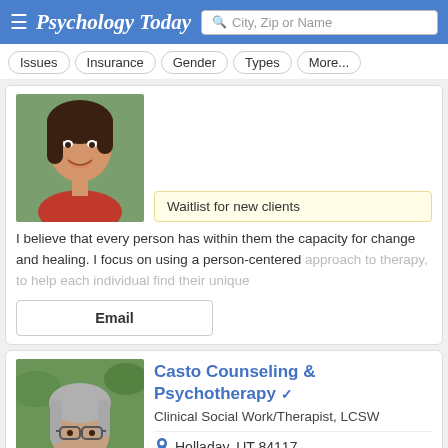Psychology Today — City, Zip or Name search
Issues
Insurance
Gender
Types
More...
Waitlist for new clients
I believe that every person has within them the capacity for change and healing. I focus on using a person-centered approach to therapy, to help each individual find their unique
Email
Casto Counseling & Psychotherapy
Clinical Social Work/Therapist, LCSW
Holladay, UT 84117